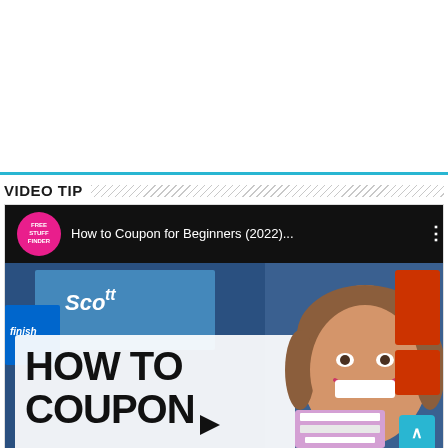[Figure (other): White advertisement/banner area with a teal/cyan bottom border line]
VIDEO TIP
[Figure (screenshot): YouTube video thumbnail for 'How to Coupon for Beginners (2022)...' by Free Stuff Finder channel. Shows a woman smiling in front of store shelves with HOW TO COUPON text overlay and a play button.]